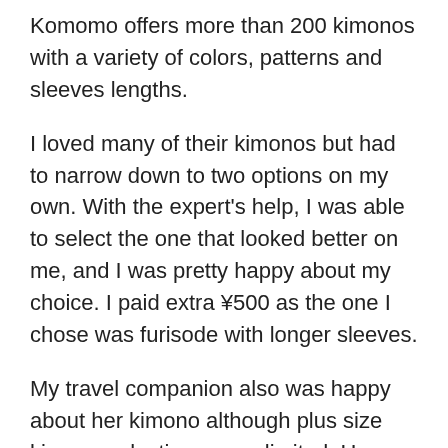Komomo offers more than 200 kimonos with a variety of colors, patterns and sleeves lengths.
I loved many of their kimonos but had to narrow down to two options on my own. With the expert's help, I was able to select the one that looked better on me, and I was pretty happy about my choice. I paid extra ¥500 as the one I chose was furisode with longer sleeves.
My travel companion also was happy about her kimono although plus size kimono selections were limited. Her nagajuban had an embroidered collar whereas mine was plain.